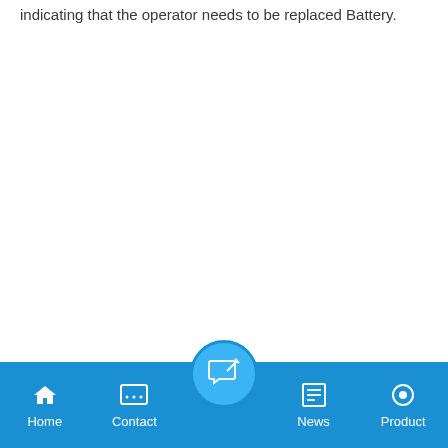indicating that the operator needs to be replaced Battery.
Home | Contact | [center button] | News | Product